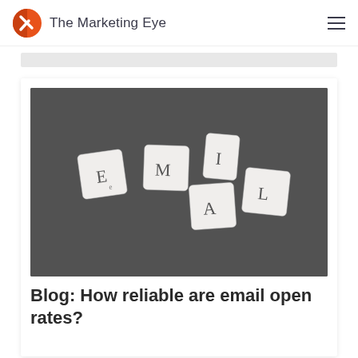The Marketing Eye
[Figure (photo): Scrabble-style letter tiles spelling EMAIL on a dark gray background]
Blog: How reliable are email open rates?